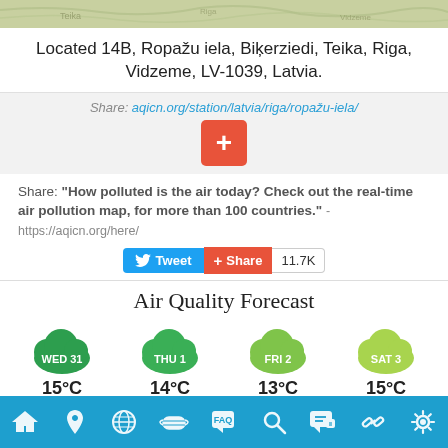[Figure (map): Map strip showing location area]
Located 14B, Ropažu iela, Biķerziedi, Teika, Riga, Vidzeme, LV-1039, Latvia.
Share: aqicn.org/station/latvia/riga/ropažu-iela/
[Figure (other): Orange plus button for adding/following]
Share: "How polluted is the air today? Check out the real-time air pollution map, for more than 100 countries." - https://aqicn.org/here/
[Figure (infographic): Tweet and Share buttons with 11.7K count]
Air Quality Forecast
[Figure (infographic): Air quality forecast icons for WED 31, THU 1, FRI 2, SAT 3 with green cloud icons and temperatures: 15°C/12°C, 14°C/10°C, 13°C/8°C, 15°C/8°C]
Navigation bar icons: home, location, globe, mask, FAQ, search, chat, link, settings